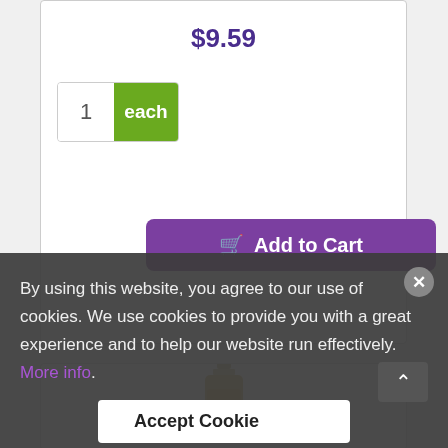$9.59
1  each
Add to Cart
[Figure (photo): Bottle of Kedem Light Grape Juice 64 oz]
By using this website, you agree to our use of cookies. We use cookies to provide you with a great experience and to help our website run effectively. More info.
Accept Cookie
Kedem Light Grape Juice 64 oz